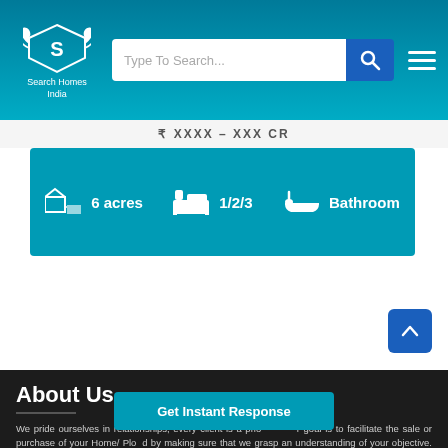Search Homes India
6 acres   1/2/3   Bathroom
About Us
We pride ourselves in relationships, every client is a priority, our goal is to facilitate the sale or purchase of your Home/ Plot/ Land by making sure that we grasp an understanding of your objective. At Search Homes India, whether you are buying or selling a Home/ Plot/ Land or any construction , it is a life-changing!
Get Instant Response